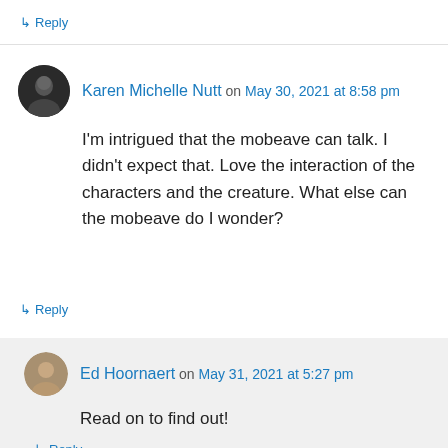↳ Reply
Karen Michelle Nutt on May 30, 2021 at 8:58 pm
I'm intrigued that the mobeave can talk. I didn't expect that. Love the interaction of the characters and the creature. What else can the mobeave do I wonder?
↳ Reply
Ed Hoornaert on May 31, 2021 at 5:27 pm
Read on to find out!
↳ Reply